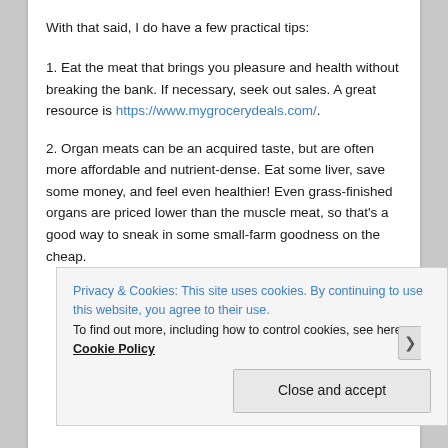With that said, I do have a few practical tips:
1. Eat the meat that brings you pleasure and health without breaking the bank. If necessary, seek out sales. A great resource is https://www.mygrocerydeals.com/.
2. Organ meats can be an acquired taste, but are often more affordable and nutrient-dense. Eat some liver, save some money, and feel even healthier! Even grass-finished organs are priced lower than the muscle meat, so that’s a good way to sneak in some small-farm goodness on the cheap.
Privacy & Cookies: This site uses cookies. By continuing to use this website, you agree to their use.
To find out more, including how to control cookies, see here: Cookie Policy
Close and accept